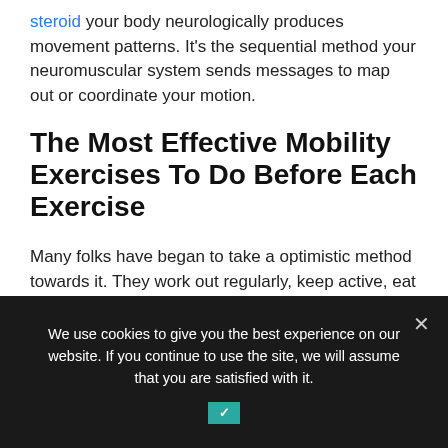steroid your body neurologically produces movement patterns. It's the sequential method your neuromuscular system sends messages to map out or coordinate your motion.
The Most Effective Mobility Exercises To Do Before Each Exercise
Many folks have began to take a optimistic method towards it. They work out regularly, keep active, eat healthy, and take care of their health. Most do that because they want to look and feel good. Unfortunately, there's additionally a development
We use cookies to give you the best experience on our website. If you continue to use the site, we will assume that you are satisfied with it.